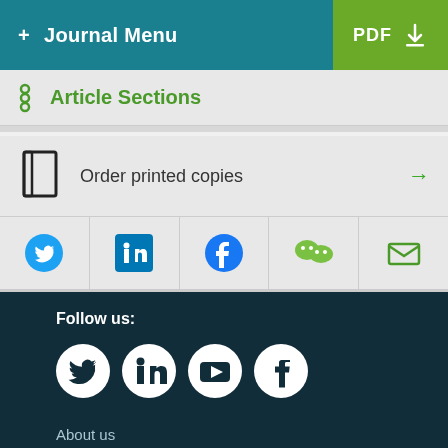+ Journal Menu | PDF
Article Sections
Order printed copies →
[Figure (screenshot): Social sharing icons row: Twitter, LinkedIn, Facebook, WeChat, Email]
Follow us:
[Figure (screenshot): Footer social icons: Twitter, LinkedIn, YouTube, Facebook circles on dark background]
About us
Contact us